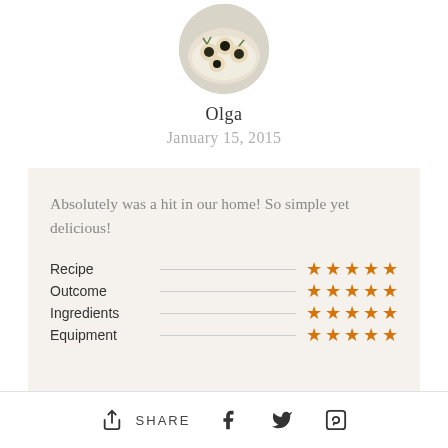[Figure (photo): Circular avatar photo showing small appetizer bites/canapés with dark toppings on a white plate with herbs]
Olga
January 15, 2015
Absolutely was a hit in our home! So simple yet delicious!
| Category | Rating |
| --- | --- |
| Recipe | ★★★★★ |
| Outcome | ★★★★★ |
| Ingredients | ★★★★★ |
| Equipment | ★★★★★ |
SHARE